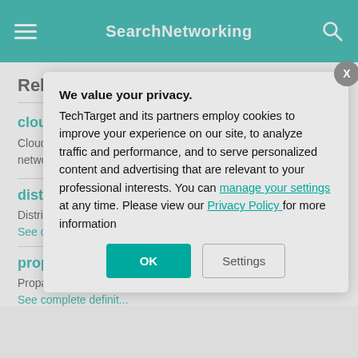SearchNetworking
Related Terms
cloud networking
Cloud networking is when some or all of an organization's networking resources are hosted
distributed co...
Distributed computing... system are shared a...
See complete definit...
propagation de...
Propagation delay is... received after it has
See complete definit...
[Figure (screenshot): Privacy consent modal dialog overlay on top of the SearchNetworking web page. Contains title 'We value your privacy.', body text about TechTarget cookies policy, links to 'manage your settings' and 'Privacy Policy', and two buttons: OK and Settings. An X close button is in the top right corner of the modal.]